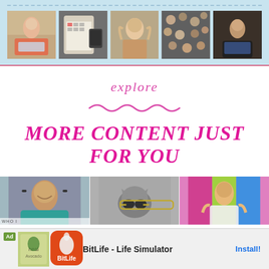[Figure (photo): Top banner with 5 photos of people in various settings on a light blue background with dashed border]
explore
[Figure (illustration): Decorative wavy line divider in pink]
MORE CONTENT JUST FOR YOU
[Figure (photo): Three bottom content photos: smiling man with glasses, cat with glasses, person in front of colorful wall]
[Figure (screenshot): Ad bar at bottom: BitLife - Life Simulator app advertisement with Install button]